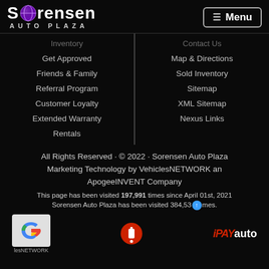Sorensen Auto Plaza | Menu
Inventory
Contact Us
Get Approved
Map & Directions
Friends & Family
Sold Inventory
Referral Program
Sitemap
Customer Loyalty
XML Sitemap
Extended Warranty
Nexus Links
Rentals
All Rights Reserved · © 2022 · Sorensen Auto Plaza Marketing Technology by VehiclesNETWORK an ApogeeINVENT Company
This page has been visited 197,991 times since April 01st, 2021
Sorensen Auto Plaza has been visited 384,53_ times.